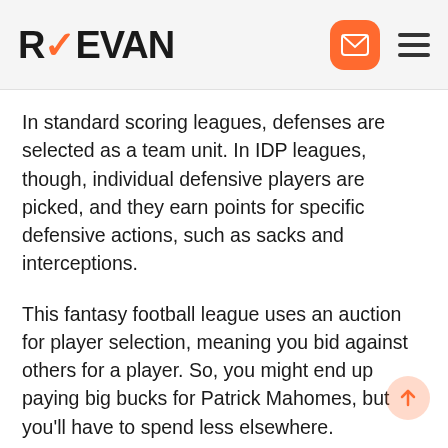REEVAN
In standard scoring leagues, defenses are selected as a team unit. In IDP leagues, though, individual defensive players are picked, and they earn points for specific defensive actions, such as sacks and interceptions.
This fantasy football league uses an auction for player selection, meaning you bid against others for a player. So, you might end up paying big bucks for Patrick Mahomes, but you'll have to spend less elsewhere.
Re-Draft fantasy leagues see you start again every single season, not retaining any players from the previous season. This makes a fantasy draft a little less confusing than alternative options. Some sites offer